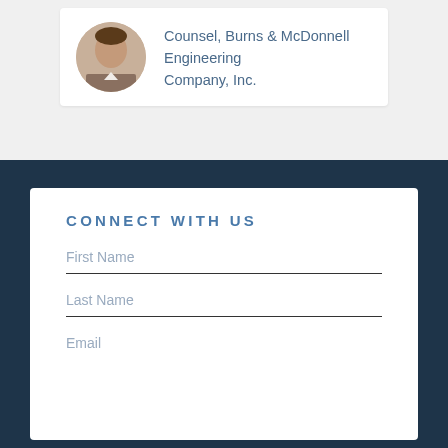Counsel, Burns & McDonnell Engineering Company, Inc.
CONNECT WITH US
First Name
Last Name
Email